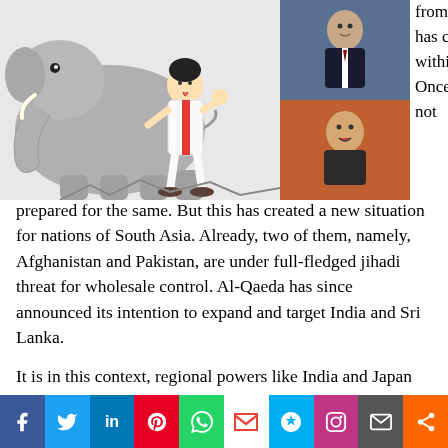[Figure (illustration): Cartoon illustration of a large elephant figure with a man in white clothes licking it, set against a gray and white background. Political cartoon style.]
[Figure (photo): Two photographs of politicians stacked vertically: top image shows a man in a suit, bottom image shows a man speaking/gesturing.]
from it, for whatever reason has created new divisions within the jihadi movement. Once again, the West was not prepared for the same. But this has created a new situation for nations of South Asia. Already, two of them, namely, Afghanistan and Pakistan, are under full-fledged jihadi threat for wholesale control. Al-Qaeda has since announced its intention to expand and target India and Sri Lanka.
It is in this context, regional powers like India and Japan need to view the emerging situation in a stand-alone island-nation like Sri Lanka. There can be no two views on the shared concerns of nations like India and Japan for the stake-holders